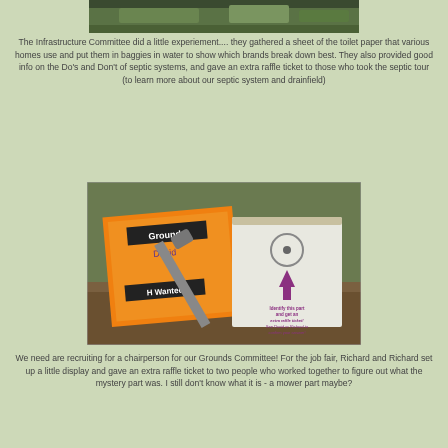[Figure (photo): Top portion of a photo showing outdoor scene with greenery visible through a window or frame]
The Infrastructure Committee did a little experiement.... they gathered a sheet of the toilet paper that various homes use and put them in baggies in water to show which brands break down best.  They also provided good info on the Do's and Don't of septic systems, and gave an extra raffle ticket to those who took the septic tour (to learn more about our septic system and drainfield)
[Figure (photo): Photo of orange Grounds committee materials including a name tag reading 'Grounds David', a 'Help Wanted' flyer, a wrench, and a clipboard with a sign that says 'Identify this part and get an extra raffle ticket! See David or Richard to confirm your answer!' with an upward arrow pointing to a circular part]
We need are recruiting for a chairperson for our Grounds Committee!  For the job fair, Richard and Richard set up a little display and gave an extra raffle ticket to two people who worked together to figure out what the mystery part was.  I still don't know what it is - a mower part maybe?